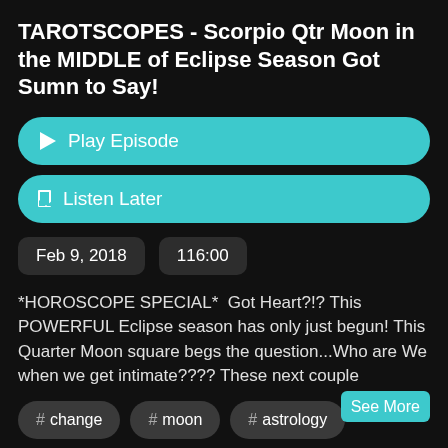TAROTSCOPES - Scorpio Qtr Moon in the MIDDLE of Eclipse Season Got Sumn to Say!
▶ Play Episode
☐ Listen Later
Feb 9, 2018
116:00
*HOROSCOPE SPECIAL*  Got Heart?!? This POWERFUL Eclipse season has only just begun! This Quarter Moon square begs the question...Who are We when we get intimate???? These next couple
See More
# change
# moon
# astrology